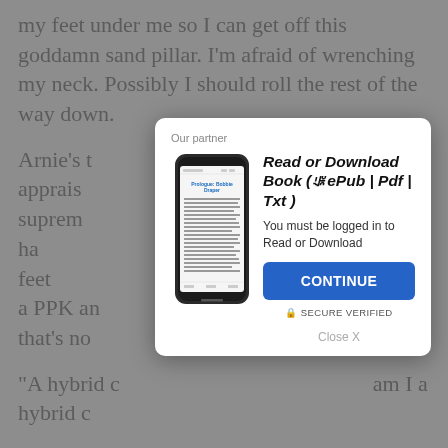my feet under me so I can get off this goddamn sand pillar. I'm afraid of wrenching my neck. Possibly I should roll the rest of the way down.
Arnie's t... still apprais... sudden suprem... house grief ha... ck on my feet... fearedâ... ing a PPK an... house that's no... his. Men are...
[Figure (screenshot): Modal popup dialog box with 'Our partner' label, a phone displaying a book page, bold italic title 'Read or Download Book (ePub | Pdf | Txt)', subtitle 'You must be logged in to Read or Download', a blue CONTINUE button, SECURE VERIFIED text, and Close X link.]
"A hybrid c... am I a hybrid c...
"I'm yan... peakÃ¨c... his berm now, my shoes full of cold sand, my ass damp. Arnie, for his part, looks robust, which was what his cosmetic work was in behalf of. He looks to have swelled out his...